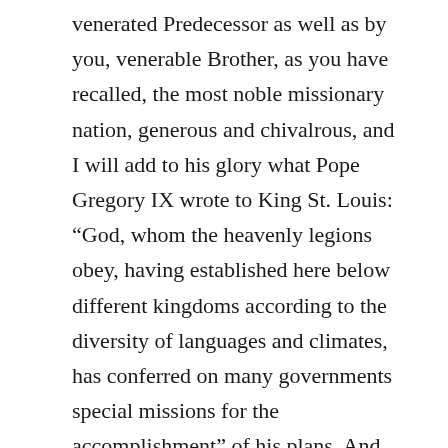venerated Predecessor as well as by you, venerable Brother, as you have recalled, the most noble missionary nation, generous and chivalrous, and I will add to his glory what Pope Gregory IX wrote to King St. Louis: “God, whom the heavenly legions obey, having established here below different kingdoms according to the diversity of languages and climates, has conferred on many governments special missions for the accomplishment” of his plans. And just as he once preferred the tribe of Judah to the tribes of Jacob’s other sons and gave them special blessings, so he chose in preference to all the other nations of the earth for the protection of the Catholic faith and the defense of religious freedom. For this reason, “France is the kingdom of God himself, the enemies of France are the enemies of Christ. The kingdom of God has...